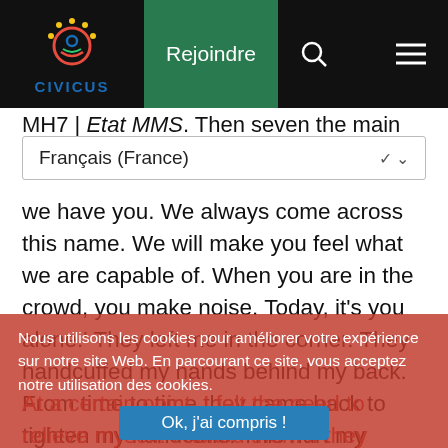CIVICUS — Rejoindre navigation bar with logo, search and menu icons
MH7 | Etat MMS. Then seven the main the next in line I
Français (France)
we have you. We always come across this name. We will make you feel what we are capable of. When you are in the crowd, you make noise. Today, it's you alone.' They left me in the corner. They handcuffed my hands behind my back. From time to time they came back to tighten my handcuffs. This hurt my wrists.
At a certain point, I felt the need to relieve myself. I asked them if they would permit me to urinate. They categorically refused. I then urinated in my pants and this amused them. They also brought in another person that they had discovered filming the eviction. I was there, handcuffed, for more than two hours. They then handcuffed us together (with the other person that had also been arrested), and we got into their vehicle. Once we arrived at the
Nous utilisons les cookies pour améliorer votre expérience sur notre site Web. En parcourant ce site, vous acceptez notre utilisation des cookies.
Ok, j'ai compris !
Je refuse